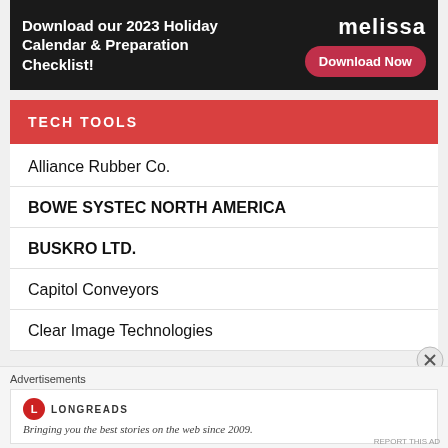[Figure (infographic): Dark banner advertisement: 'Download our 2023 Holiday Calendar & Preparation Checklist!' with Melissa logo and a 'Download Now' button on dark background]
TECH TOOLS
Alliance Rubber Co.
BOWE SYSTEC NORTH AMERICA
BUSKRO LTD.
Capitol Conveyors
Clear Image Technologies
[Figure (infographic): Advertisements section: Longreads logo with tagline 'Bringing you the best stories on the web since 2009.']